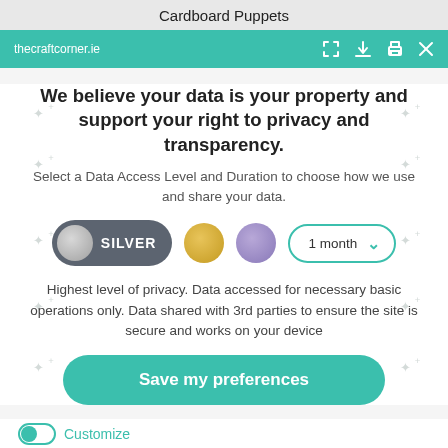Cardboard Puppets
thecraftcorner.ie
We believe your data is your property and support your right to privacy and transparency.
Select a Data Access Level and Duration to choose how we use and share your data.
[Figure (infographic): Privacy level selector with SILVER pill toggle, gold circle, purple circle, and 1 month dropdown]
Highest level of privacy. Data accessed for necessary basic operations only. Data shared with 3rd parties to ensure the site is secure and works on your device
Save my preferences
Customize